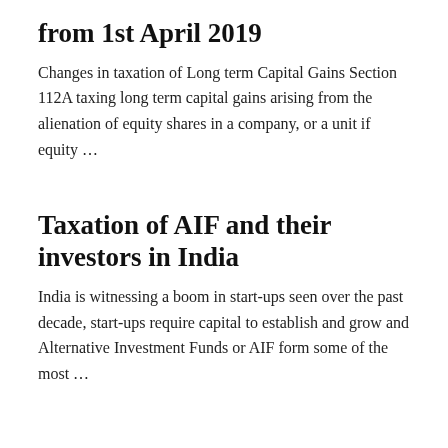from 1st April 2019
Changes in taxation of Long term Capital Gains Section 112A taxing long term capital gains arising from the alienation of equity shares in a company, or a unit if equity …
Taxation of AIF and their investors in India
India is witnessing a boom in start-ups seen over the past decade, start-ups require capital to establish and grow and Alternative Investment Funds or AIF form some of the most …